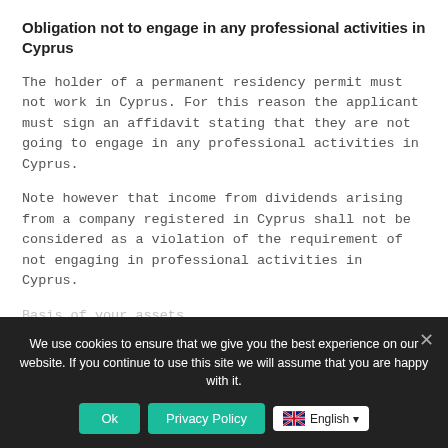Obligation not to engage in any professional activities in Cyprus
The holder of a permanent residency permit must not work in Cyprus. For this reason the applicant must sign an affidavit stating that they are not going to engage in any professional activities in Cyprus.
Note however that income from dividends arising from a company registered in Cyprus shall not be considered as a violation of the requirement of not engaging in professional activities in Cyprus.
The applicant must... [obscured by cookie overlay]